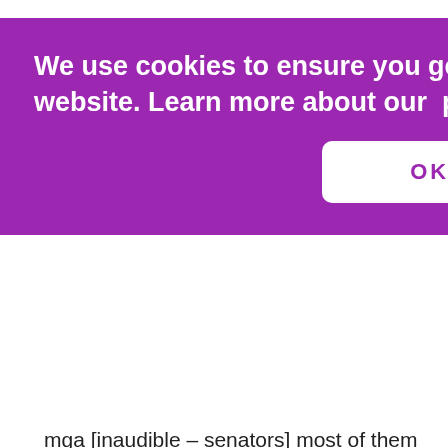[Figure (screenshot): Cookie consent banner overlay with purple background. Text reads: 'We use cookies to ensure you get the best experience on our website. Learn more about our privacy policy.' with an OKAY button.]
mga [inaudible – senators] most of them at least open to discussion?
Sen. Pia: Ganito, sa dami ng trabaho ko, kasi nga 'yung mga bagong committees ko, and again, I have to emphasize 'yung Committee on Sustainable Development, andaming sakop nun, syempre happy ako kung kahit anong bill na sinusulong ko maraming support, dahil mababawasan din 'yung trabaho ko dahil wala na ako masyadong kukumbinsihin. So I'm always